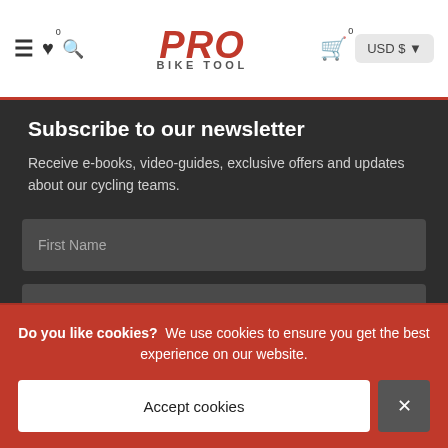PRO BIKE TOOL — navigation header with hamburger menu, heart (0), search, logo, cart (0), USD $
Subscribe to our newsletter
Receive e-books, video-guides, exclusive offers and updates about our cycling teams.
First Name
Your email
Email me with news and offers
Do you like cookies? We use cookies to ensure you get the best experience on our website.
Accept cookies